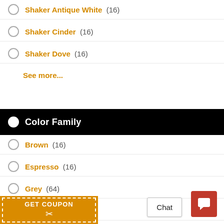Shaker Antique White (16)
Shaker Cinder (16)
Shaker Dove (16)
See more...
Color Family
Brown (16)
Espresso (16)
Grey (64)
Off White (48)
[Figure (other): GET COUPON banner with dashed border and scissors icon]
Chat